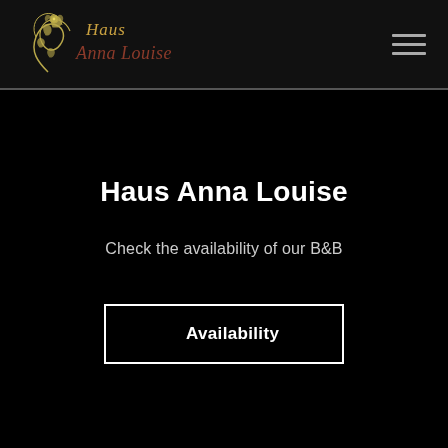[Figure (logo): Haus Anna Louise decorative script logo with floral vine ornament in gold/olive color on dark background]
Haus Anna Louise
Check the availability of our B&B
Availability